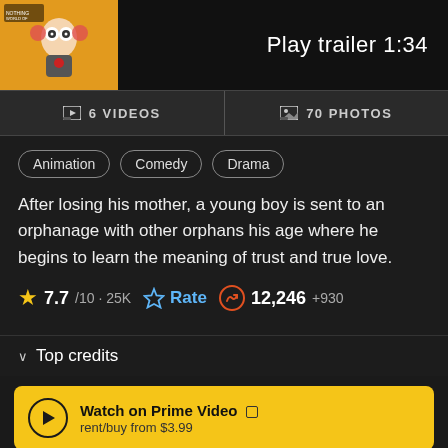[Figure (screenshot): IMDb movie page screenshot showing animated film thumbnail, Play trailer 1:34 button, 6 VIDEOS / 70 PHOTOS tabs, genre tags (Animation, Comedy, Drama), movie description, rating 7.7/10 · 25K, Rate button, popularity 12,246 +930, Top credits section, and Watch on Prime Video banner with rent/buy from $3.99]
Play trailer 1:34
6 VIDEOS
70 PHOTOS
Animation
Comedy
Drama
After losing his mother, a young boy is sent to an orphanage with other orphans his age where he begins to learn the meaning of trust and true love.
7.7/10 · 25K
Rate
12,246 +930
Top credits
Watch on Prime Video
rent/buy from $3.99